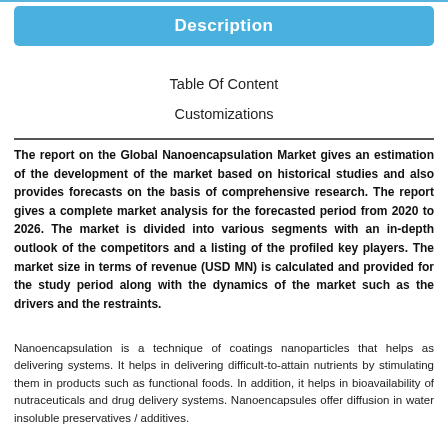Description
Table Of Content
Customizations
The report on the Global Nanoencapsulation Market gives an estimation of the development of the market based on historical studies and also provides forecasts on the basis of comprehensive research. The report gives a complete market analysis for the forecasted period from 2020 to 2026. The market is divided into various segments with an in-depth outlook of the competitors and a listing of the profiled key players. The market size in terms of revenue (USD MN) is calculated and provided for the study period along with the dynamics of the market such as the drivers and the restraints.
Nanoencapsulation is a technique of coatings nanoparticles that helps as delivering systems. It helps in delivering difficult-to-attain nutrients by stimulating them in products such as functional foods. In addition, it helps in bioavailability of nutraceuticals and drug delivery systems. Nanoencapsules offer diffusion in water insoluble preservatives / additives.